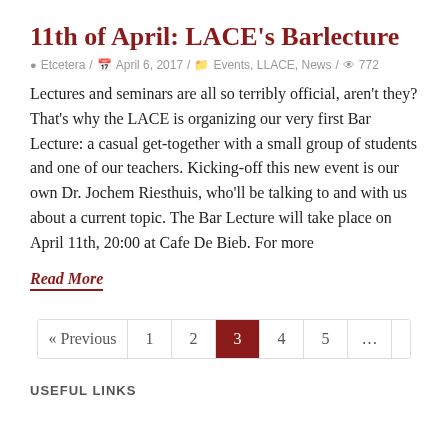11th of April: LACE's Barlecture
Etcetera / April 6, 2017 / Events, LLACE, News / 772
Lectures and seminars are all so terribly official, aren't they? That's why the LACE is organizing our very first Bar Lecture: a casual get-together with a small group of students and one of our teachers. Kicking-off this new event is our own Dr. Jochem Riesthuis, who'll be talking to and with us about a current topic. The Bar Lecture will take place on April 11th, 20:00 at Cafe De Bieb. For more
Read More
« Previous 1 2 3 4 5 … 7 Next »
USEFUL LINKS